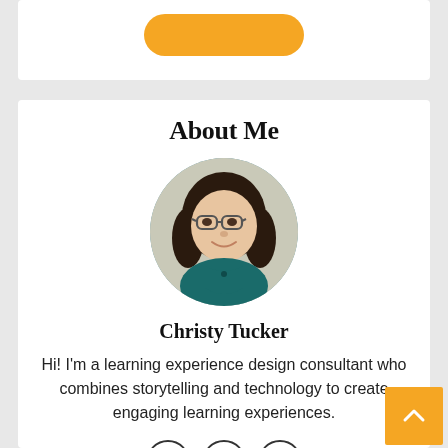[Figure (other): Orange rounded rectangle button at top of page]
About Me
[Figure (photo): Circular portrait photo of Christy Tucker, a woman with dark hair and glasses wearing a teal top]
Christy Tucker
Hi! I'm a learning experience design consultant who combines storytelling and technology to create engaging learning experiences.
[Figure (other): Social media icons: Facebook, Twitter, LinkedIn in circular outlines]